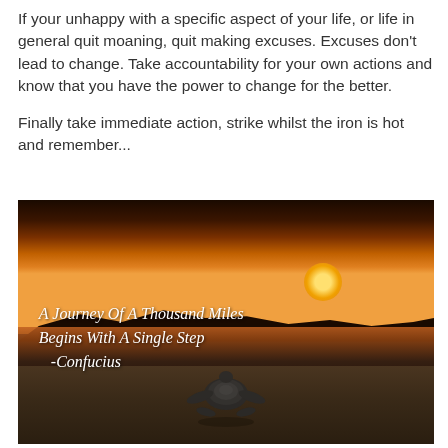If your unhappy with a specific aspect of your life, or life in general quit moaning, quit making excuses. Excuses don't lead to change. Take accountability for your own actions and know that you have the power to change for the better.

Finally take immediate action, strike whilst the iron is hot and remember...
[Figure (photo): A motivational image showing a baby turtle crawling on a beach toward the ocean at sunset, with the quote 'A Journey Of A Thousand Miles Begins With A Single Step -Confucius' overlaid in white italic text.]